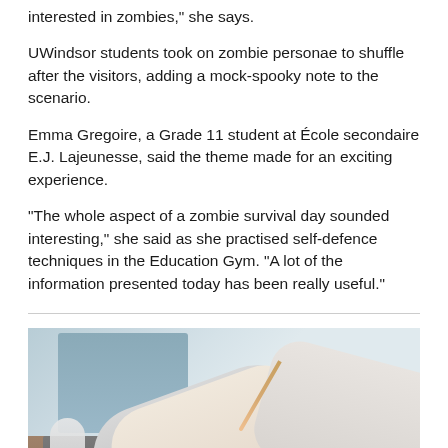interested in zombies," she says.
UWindsor students took on zombie personae to shuffle after the visitors, adding a mock-spooky note to the scenario.
Emma Gregoire, a Grade 11 student at École secondaire E.J. Lajeunesse, said the theme made for an exciting experience.
"The whole aspect of a zombie survival day sounded interesting," she said as she practised self-defence techniques in the Education Gym. "A lot of the information presented today has been really useful."
[Figure (photo): Photo of two people at a desk with a laptop, papers, and pencils; one person writing on papers while another appears to be collaborating]